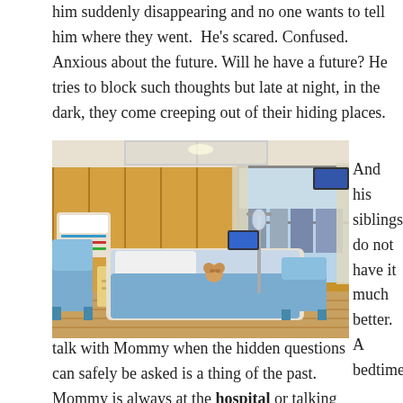him suddenly disappearing and no one wants to tell him where they went.  He's scared. Confused. Anxious about the future. Will he have a future? He tries to block such thoughts but late at night, in the dark, they come creeping out of their hiding places.
[Figure (photo): A hospital patient room with a bed covered in blue bedding, medical equipment on the wall, an IV stand, chairs, wooden wall paneling, and a large window showing a city skyline. A stuffed animal sits on the bed.]
And his siblings do not have it much better. A bedtime talk with Mommy when the hidden questions can safely be asked is a thing of the past. Mommy is always at the hospital or talking nervously to doctors on the phone. Suppers arrive from strangers. No one is home to help with